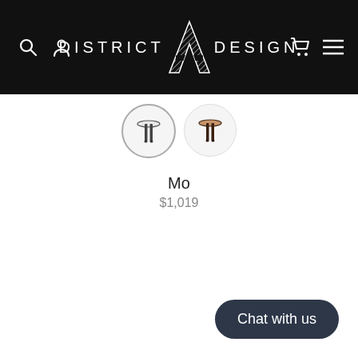District A Design — navigation header with search, account, cart, and menu icons
[Figure (photo): Two circular product thumbnail images of 'Mo' stool — one in white/black finish, one in tan/black finish]
Mo
$1,019
Chat with us